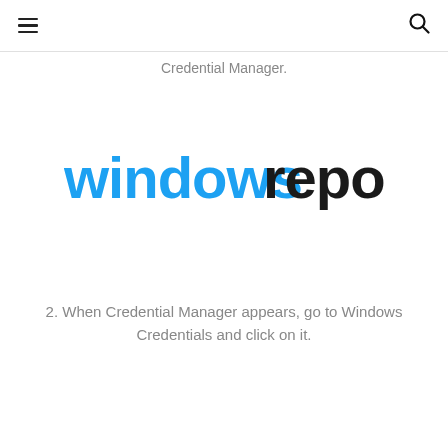[hamburger menu icon] [search icon]
Credential Manager.
[Figure (logo): Windows Report logo: 'windows' in blue and 'report' in black, bold modern sans-serif font]
2. When Credential Manager appears, go to Windows Credentials and click on it.